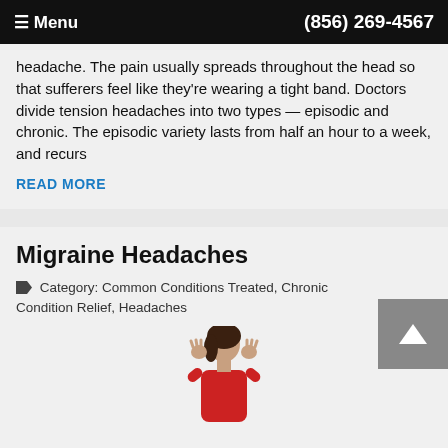≡ Menu   (856) 269-4567
headache. The pain usually spreads throughout the head so that sufferers feel like they're wearing a tight band. Doctors divide tension headaches into two types — episodic and chronic. The episodic variety lasts from half an hour to a week, and recurs
READ MORE
Migraine Headaches
Category: Common Conditions Treated, Chronic Condition Relief, Headaches
[Figure (photo): Woman in red top holding head in pain, migraine illustration]